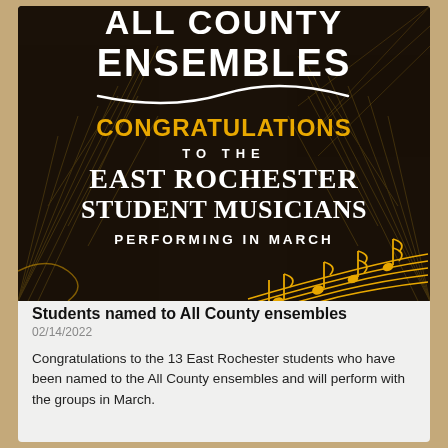[Figure (illustration): Black poster with decorative geometric leaf/palm pattern background. White bold text at top reads 'ALL COUNTY ENSEMBLES' with a white wavy line beneath. Gold/yellow bold text reads 'CONGRATULATIONS'. White uppercase text reads 'TO THE'. Large white serif bold text reads 'EAST ROCHESTER STUDENT MUSICIANS'. Smaller white spaced caps text reads 'PERFORMING IN MARCH'. Bottom right features gold musical notes on staff lines.]
Students named to All County ensembles
02/14/2022
Congratulations to the 13 East Rochester students who have been named to the All County ensembles and will perform with the groups in March.